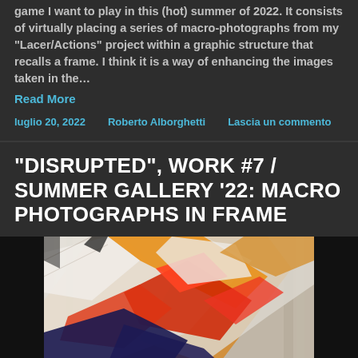game I want to play in this (hot) summer of 2022. It consists of virtually placing a series of macro-photographs from my "Lacer/Actions" project within a graphic structure that recalls a frame. I think it is a way of enhancing the images taken in the… Read More
luglio 20, 2022   Roberto Alborghetti   Lascia un commento
"DISRUPTED", WORK #7 / SUMMER GALLERY '22: MACRO PHOTOGRAPHS IN FRAME
[Figure (photo): Colorful abstract macro photograph showing torn or layered materials with orange, red, blue, white and black tones, framed by dark vertical bars on left and right sides.]